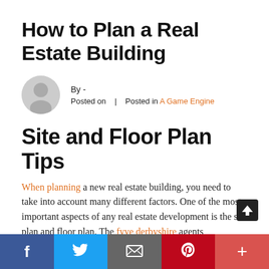How to Plan a Real Estate Building
By -
Posted on   |   Posted in A Game Engine
Site and Floor Plan Tips
When planning a new real estate building, you need to take into account many different factors. One of the most important aspects of any real estate development is the site plan and floor plan. The fyve derbyshire agents